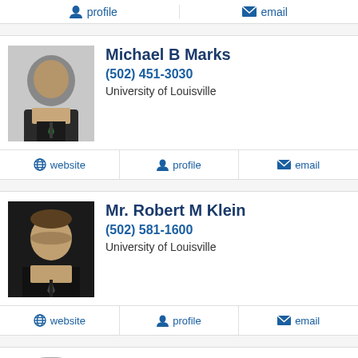profile  email
[Figure (photo): Photo of Michael B Marks]
Michael B Marks
(502) 451-3030
University of Louisville
website  profile  email
[Figure (photo): Photo of Mr. Robert M Klein]
Mr. Robert M Klein
(502) 581-1600
University of Louisville
website  profile  email
[Figure (photo): Placeholder photo of Joshua McWilliams]
Joshua McWilliams